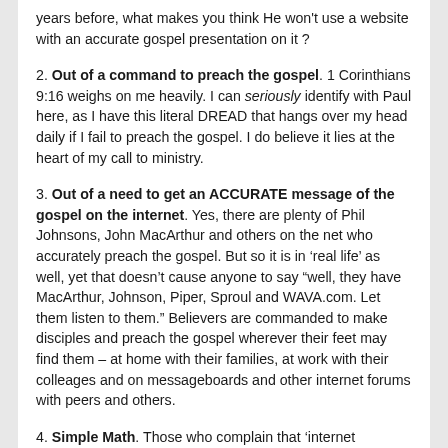years before, what makes you think He won't use a website with an accurate gospel presentation on it ?
2. Out of a command to preach the gospel. 1 Corinthians 9:16 weighs on me heavily. I can seriously identify with Paul here, as I have this literal DREAD that hangs over my head daily if I fail to preach the gospel. I do believe it lies at the heart of my call to ministry.
3. Out of a need to get an ACCURATE message of the gospel on the internet. Yes, there are plenty of Phil Johnsons, John MacArthur and others on the net who accurately preach the gospel. But so it is in ‘real life’ as well, yet that doesn’t cause anyone to say “well, they have MacArthur, Johnson, Piper, Sproul and WAVA.com. Let them listen to them.” Believers are commanded to make disciples and preach the gospel wherever their feet may find them – at home with their families, at work with their colleages and on messageboards and other internet forums with peers and others.
4. Simple Math. Those who complain that ‘internet evangelism does nothing’ fail to realize that even if you have a congregation of 200 and you preach